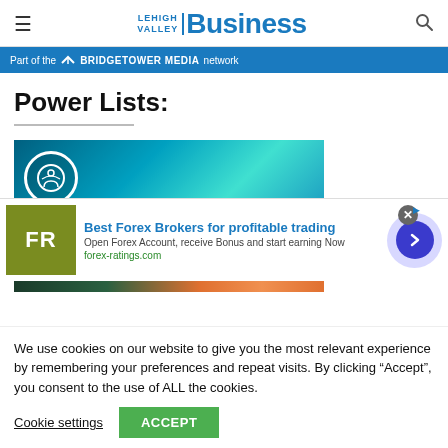Lehigh Valley Business
Part of the BRIDGETOWER MEDIA network
Power Lists:
[Figure (screenshot): Teal/cyan glowing network technology background image with an accessibility circle icon on the left, partially visible]
[Figure (infographic): Advertisement overlay: FR logo in olive/green square, 'Best Forex Brokers for profitable trading' headline in blue, 'Open Forex Account, receive Bonus and start earning Now' body text, 'forex-ratings.com' link in green, blue arrow circle button on right, close X button top right]
[Figure (photo): Bottom strip of article image showing group of people in orange and dark colors]
We use cookies on our website to give you the most relevant experience by remembering your preferences and repeat visits. By clicking “Accept”, you consent to the use of ALL the cookies.
Cookie settings
ACCEPT